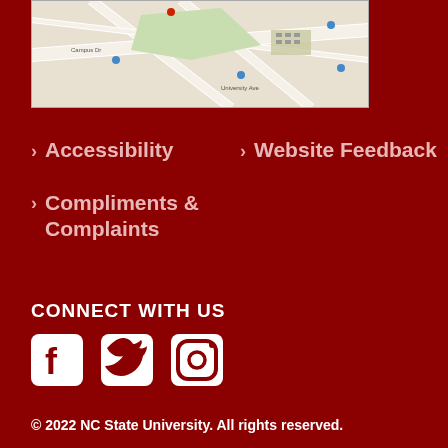[Figure (map): Campus map screenshot showing streets and green areas]
Accessibility
Website Feedback
Compliments & Complaints
CONNECT WITH US
[Figure (illustration): Social media icons: Facebook, Twitter, Instagram]
© 2022 NC State University. All rights reserved.